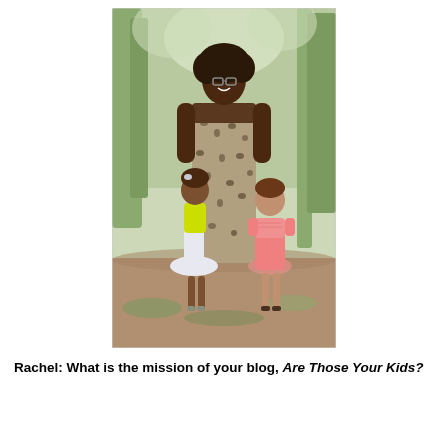[Figure (photo): A woman standing outdoors in a wooded area wearing a leopard-print strapless maxi dress, with two young girls beside her. One girl on the left wears a yellow top with a white tutu skirt, and the other on the right wears a pink dress. The background shows trees and green foliage.]
Rachel:  What is the mission of your blog, Are Those Your Kids?